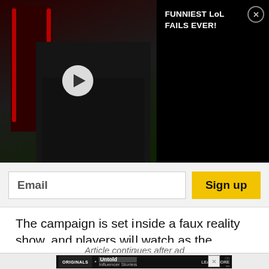[Figure (screenshot): Video overlay showing a gaming/esports scene with a person in a gaming chair, with a play button in the center. Black panel on the right shows title 'FUNNIEST LoL FAILS EVER!' with a close (X) button.]
Email
Sign up
The campaign is set inside a faux reality show, and players will watch as the narrative plays out in front of them in a mix of gameplay and live-action sequences.
Article continues after ad
[Figure (screenshot): Advertisement banner for TikTok Originals featuring 'Untold Influencer Stories' with a LEARN MORE button and an X close button.]